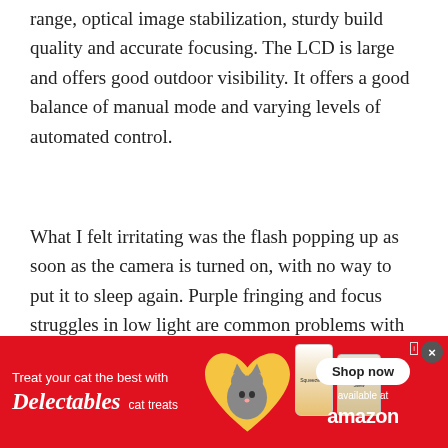range, optical image stabilization, sturdy build quality and accurate focusing. The LCD is large and offers good outdoor visibility. It offers a good balance of manual mode and varying levels of automated control.
What I felt irritating was the flash popping up as soon as the camera is turned on, with no way to put it to sleep again. Purple fringing and focus struggles in low light are common problems with the PowerShot line of cameras, with this one being no exception
[Figure (photo): Advertisement banner for Delectables cat treats. Red background with a cat photo in a heart shape, Squeeze Up and Stew product images, 'Treat your cat the best with Delectables cat treats' text, 'Shop now' button, and 'available at amazon' text.]